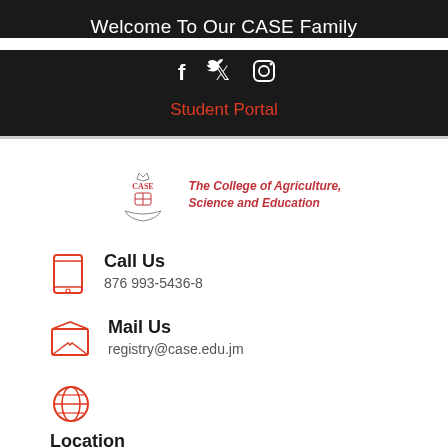Welcome To Our CASE Family
[Figure (logo): Social media icons: Facebook, Twitter, Instagram]
Student Portal
[Figure (logo): CASE college seal logo with text: The College of Agriculture, Science and Education]
Call Us
876 993-5436-8
Mail Us
registry@case.edu.jm
Location
Passley Gardens, PO Box 170,
Port Antonio, Portland,
Jamaica W.I.